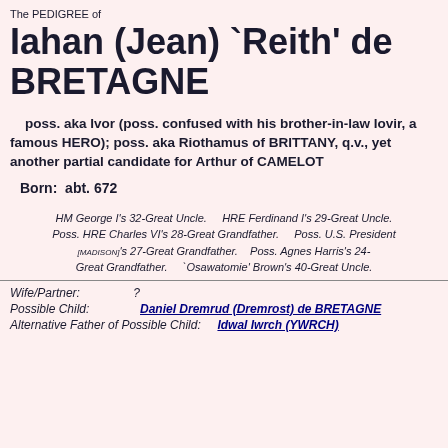The PEDIGREE of
Iahan (Jean) `Reith' de BRETAGNE
poss. aka Ivor (poss. confused with his brother-in-law Iovir, a famous HERO); poss. aka Riothamus of BRITTANY, q.v., yet another partial candidate for Arthur of CAMELOT
Born:  abt. 672
HM George I's 32-Great Uncle.    HRE Ferdinand I's 29-Great Uncle.    Poss. HRE Charles VI's 28-Great Grandfather.    Poss. U.S. President [MADISON]'s 27-Great Grandfather.    Poss. Agnes Harris's 24-Great Grandfather.    `Osawatomie' Brown's 40-Great Uncle.
Wife/Partner:    ?
Possible Child:    Daniel Dremrud (Dremrost) de BRETAGNE
Alternative Father of Possible Child:    Idwal Iwrch (YWRCH)